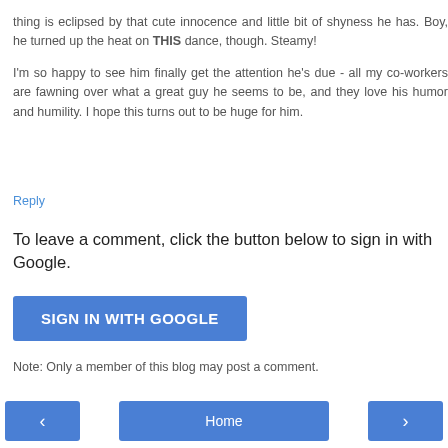thing is eclipsed by that cute innocence and little bit of shyness he has. Boy, he turned up the heat on THIS dance, though. Steamy!
I'm so happy to see him finally get the attention he's due - all my co-workers are fawning over what a great guy he seems to be, and they love his humor and humility. I hope this turns out to be huge for him.
Reply
To leave a comment, click the button below to sign in with Google.
[Figure (other): Blue button labeled SIGN IN WITH GOOGLE]
Note: Only a member of this blog may post a comment.
[Figure (other): Navigation bar with left arrow button, Home button, and right arrow button]